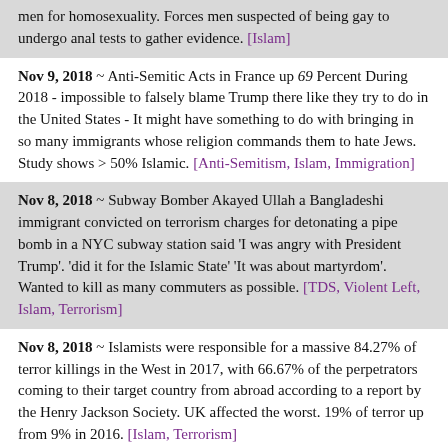men for homosexuality. Forces men suspected of being gay to undergo anal tests to gather evidence. [Islam]
Nov 9, 2018 ~ Anti-Semitic Acts in France up 69 Percent During 2018 - impossible to falsely blame Trump there like they try to do in the United States - It might have something to do with bringing in so many immigrants whose religion commands them to hate Jews. Study shows > 50% Islamic. [Anti-Semitism, Islam, Immigration]
Nov 8, 2018 ~ Subway Bomber Akayed Ullah a Bangladeshi immigrant convicted on terrorism charges for detonating a pipe bomb in a NYC subway station said 'I was angry with President Trump'. 'did it for the Islamic State' 'It was about martyrdom'. Wanted to kill as many commuters as possible. [TDS, Violent Left, Islam, Terrorism]
Nov 8, 2018 ~ Islamists were responsible for a massive 84.27% of terror killings in the West in 2017, with 66.67% of the perpetrators coming to their target country from abroad according to a report by the Henry Jackson Society. UK affected the worst. 19% of terror up from 9% in 2016. [Islam, Terrorism]
Nov 3, 2018 ~ David Harsanyi, 'The Left's Response to the Mass Shooting of Jews Was an Act of Bad Faith'. Blaming Trump was total